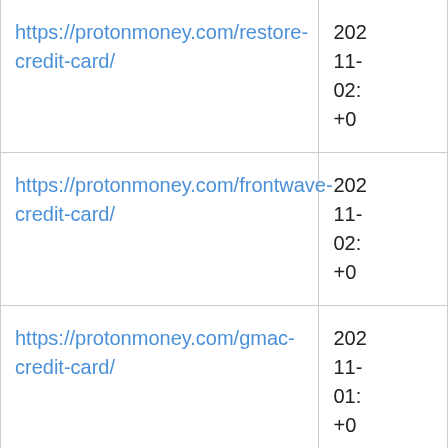| URL | Date |
| --- | --- |
| https://protonmoney.com/restore-credit-card/ | 202
11-
02:
+0 |
| https://protonmoney.com/frontwave-credit-card/ | 202
11-
02:
+0 |
| https://protonmoney.com/gmac-credit-card/ | 202
11-
01:
+0 |
| https://protonmoney.com/omni-credit-card/ | 202
11-
01: |